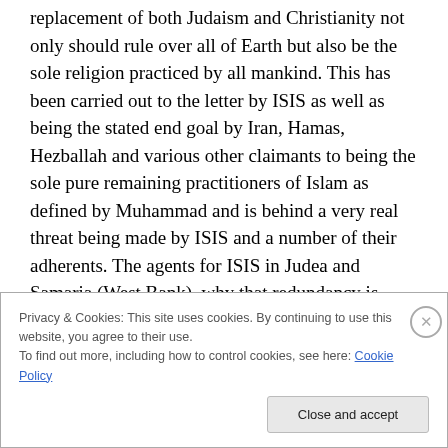replacement of both Judaism and Christianity not only should rule over all of Earth but also be the sole religion practiced by all mankind. This has been carried out to the letter by ISIS as well as being the stated end goal by Iran, Hamas, Hezballah and various other claimants to being the sole pure remaining practitioners of Islam as defined by Muhammad and is behind a very real threat being made by ISIS and a number of their adherents. The agents for ISIS in Judea and Samaria (West Bank), why that redundancy is required by all that is politically correct makes me really desire to cease the practice, and I shall
Privacy & Cookies: This site uses cookies. By continuing to use this website, you agree to their use.
To find out more, including how to control cookies, see here: Cookie Policy